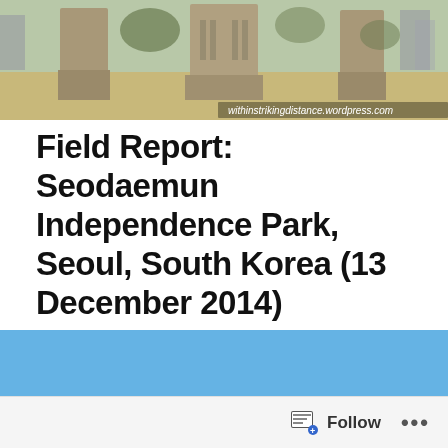[Figure (photo): Seodaemun Independence Park stone monument pillars with bare trees and city buildings in background, URL watermark: withinstrikingdistance.wordpress.com]
Field Report: Seodaemun Independence Park, Seoul, South Korea (13 December 2014)
[Figure (photo): Independence Gate (Dongnimmun) stone arch with ornamental balustrade top, blue sky background, modern buildings and tree visible on sides]
Follow ···